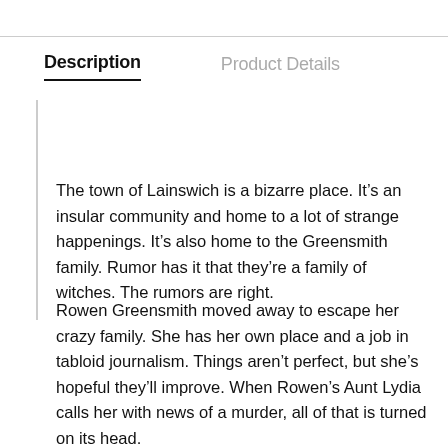Description
Product Details
The town of Lainswich is a bizarre place. It’s an insular community and home to a lot of strange happenings. It’s also home to the Greensmith family. Rumor has it that they’re a family of witches. The rumors are right.
Rowen Greensmith moved away to escape her crazy family. She has her own place and a job in tabloid journalism. Things aren’t perfect, but she’s hopeful they’ll improve. When Rowen’s Aunt Lydia calls her with news of a murder, all of that is turned on its head.